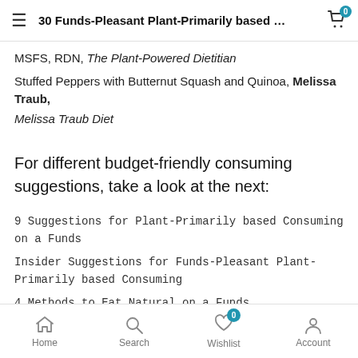30 Funds-Pleasant Plant-Primarily based …
MSFS, RDN, The Plant-Powered Dietitian
Stuffed Peppers with Butternut Squash and Quinoa, Melissa Traub, Melissa Traub Diet
For different budget-friendly consuming suggestions, take a look at the next:
9 Suggestions for Plant-Primarily based Consuming on a Funds
Insider Suggestions for Funds-Pleasant Plant-Primarily based Consuming
4 Methods to Eat Natural on a Funds
Home  Search  Wishlist  Account